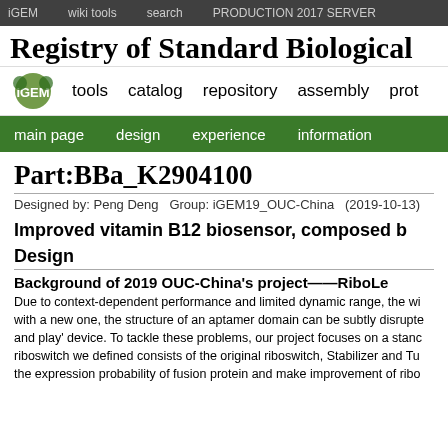iGEM   wiki tools   search   PRODUCTION 2017 SERVER
Registry of Standard Biological
tools   catalog   repository   assembly   prot
main page   design   experience   information
Part:BBa_K2904100
Designed by: Peng Deng   Group: iGEM19_OUC-China   (2019-10-13)
Improved vitamin B12 biosensor, composed b
Design
Background of 2019 OUC-China's project——RiboLe
Due to context-dependent performance and limited dynamic range, the wi with a new one, the structure of an aptamer domain can be subtly disrupte and play' device. To tackle these problems, our project focuses on a stanc riboswitch we defined consists of the original riboswitch, Stabilizer and Tu the expression probability of fusion protein and make improvement of ribo